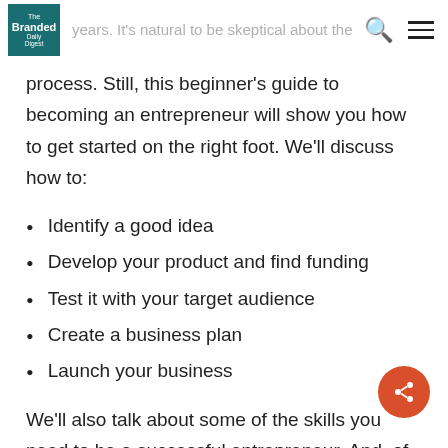successful online ventures in the last couple of years. It's natural to be skeptical about the
process. Still, this beginner's guide to becoming an entrepreneur will show you how to get started on the right foot. We'll discuss how to:
Identify a good idea
Develop your product and find funding
Test it with your target audience
Create a business plan
Launch your business
We'll also talk about some of the skills you need to be a successful entrepreneur. And, of course, the most important part—getting paid